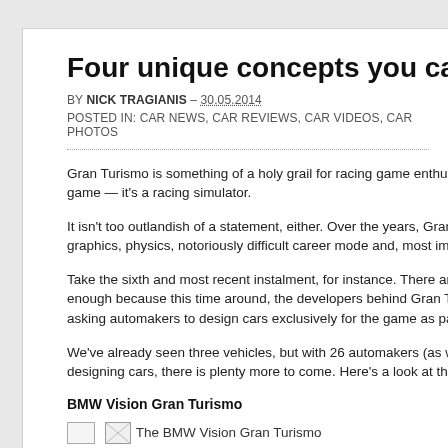Four unique concepts you can drive in G
BY NICK TRAGIANIS – 30.05.2014
POSTED IN: CAR NEWS, CAR REVIEWS, CAR VIDEOS, CAR PHOTOS
Gran Turismo is something of a holy grail for racing game enthusiasts. In fact, s game — it's a racing simulator.
It isn't too outlandish of a statement, either. Over the years, Gran Turismo has b graphics, physics, notoriously difficult career mode and, most importantly, its ex
Take the sixth and most recent instalment, for instance. There are about 1,250 c enough because this time around, the developers behind Gran Turismo 6 are de asking automakers to design cars exclusively for the game as part of the Vision
We've already seen three vehicles, but with 26 automakers (as well as Nike and designing cars, there is plenty more to come. Here's a look at the three (and on
BMW Vision Gran Turismo
[Figure (photo): The BMW Vision Gran Turismo - broken image placeholder]